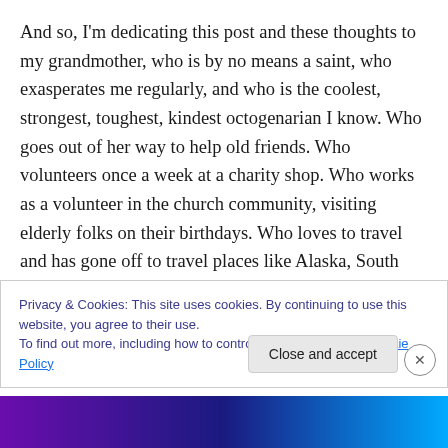And so, I'm dedicating this post and these thoughts to my grandmother, who is by no means a saint, who exasperates me regularly, and who is the coolest, strongest, toughest, kindest octogenarian I know. Who goes out of her way to help old friends. Who volunteers once a week at a charity shop. Who works as a volunteer in the church community, visiting elderly folks on their birthdays. Who loves to travel and has gone off to travel places like Alaska, South Africa, Peru in the last ten years alone. Who once threw out a very close friend, because that friend thought her social visit was more important than
Privacy & Cookies: This site uses cookies. By continuing to use this website, you agree to their use. To find out more, including how to control cookies, see here: Cookie Policy